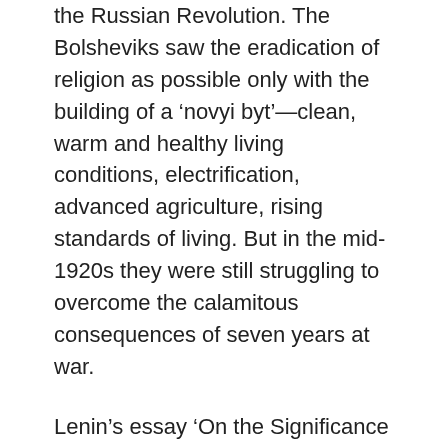the Russian Revolution. The Bolsheviks saw the eradication of religion as possible only with the building of a 'novyi byt'—clean, warm and healthy living conditions, electrification, advanced agriculture, rising standards of living. But in the mid-1920s they were still struggling to overcome the calamitous consequences of seven years at war.
Lenin's essay 'On the Significance of Militant Materialism' was published in March 1922, and the first issue of Bezbozhnik (The Atheist) came out later that year, the first sustained, mass atheist newspaper. But this and other publications failed to have any real impact: soon their editors were scrabbling around for material. The League of the Godless was established by a small group of demoralised atheists in 1925, but was ineffective in its early years. It became the League of the